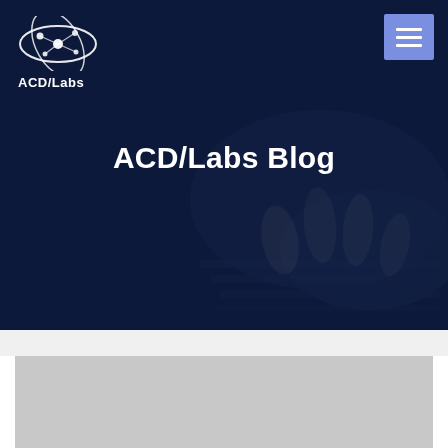[Figure (screenshot): ACD/Labs website blog hero header with dark navy blue overlay on a photo of hands typing on a keyboard. Contains the ACD/Labs logo in the top-left corner, a hamburger menu button in the top-right corner, and the title 'ACD/Labs Blog' centered in the hero area.]
ACD/Labs Blog
[Figure (photo): Light grey rectangular card/thumbnail placeholder below the white band, partially visible at the bottom of the page.]